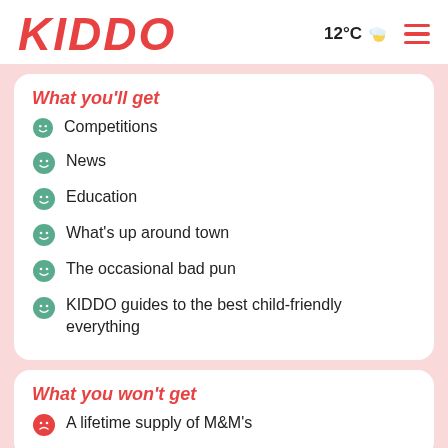KIDDO  12°C  ☰
What you'll get
Competitions
News
Education
What's up around town
The occasional bad pun
KIDDO guides to the best child-friendly everything
What you won't get
A lifetime supply of M&M's